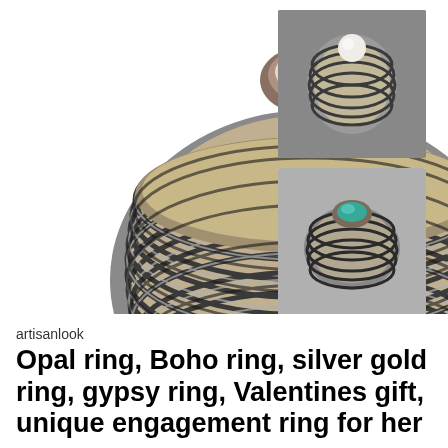[Figure (photo): Large close-up photo of a silver and gold Boho ring with layered wire-wrapped band design, white/opal stone on top, photographed from front/slightly above on white background]
[Figure (photo): Small thumbnail of silver wire-wrapped ring with white pearl stone, gray background]
[Figure (photo): Small thumbnail of silver wire-wrapped ring with turquoise blue stone, gray background]
[Figure (photo): Small thumbnail of silver wire-wrapped ring with white pearl stone, side/angle view, gray background]
artisanlook
Opal ring, Boho ring, silver gold ring, gypsy ring, Valentines gift, unique engagement ring for her